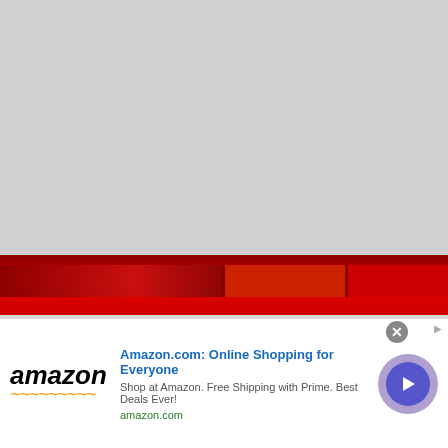[Figure (screenshot): Top banner area showing a dark/grey video or image placeholder with a red decorative bar below it]
Connect with Frontstretch
[Figure (infographic): Social media icons grid: Twitter (blue bird), Facebook (blue f), Instagram (black/white camera), YouTube (red play button), RSS (orange feed icon), Podcasts (purple microphone)]
[Figure (screenshot): Amazon advertisement banner: Amazon logo on left, headline 'Amazon.com: Online Shopping for Everyone', subtext 'Shop at Amazon. Free Shipping with Prime. Best Deals Ever!', link 'amazon.com', purple arrow button on right]